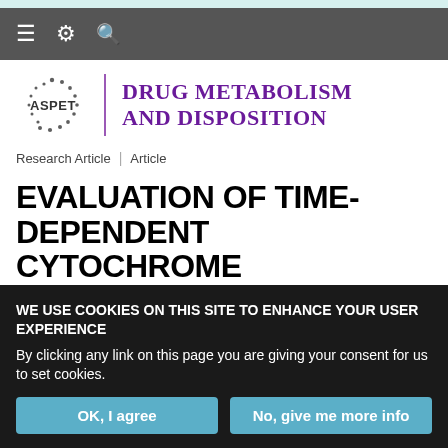≡ ⚙ 🔍
[Figure (logo): ASPET | Drug Metabolism and Disposition journal logo with ASPET circular dot logo and purple journal name text]
Research Article | Article
EVALUATION OF TIME-DEPENDENT CYTOCHROME P450 INHIBITION USING
WE USE COOKIES ON THIS SITE TO ENHANCE YOUR USER EXPERIENCE
By clicking any link on this page you are giving your consent for us to set cookies.
OK, I agree | No, give me more info